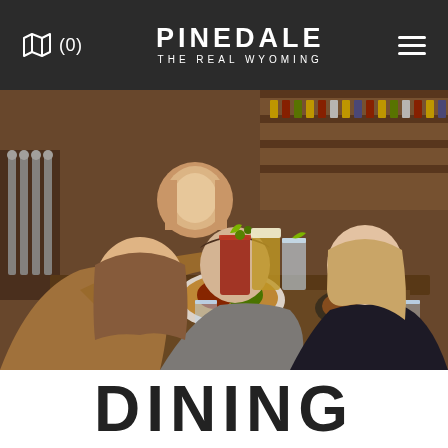Pinedale – The Real Wyoming
[Figure (photo): Three people at a restaurant bar table toasting drinks — a Bloody Mary, a beer, and a water glass — with food spread on the table. A woman bartender is visible in the background. The setting is a rustic bar/restaurant interior.]
DINING